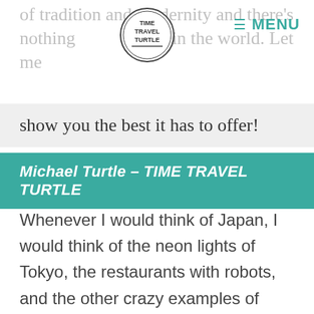of tradition and modernity and there's nothing like it in the world. Let me
[Figure (logo): Time Travel Turtle circular logo with handwritten text]
MENU
show you the best it has to offer!
Michael Turtle – TIME TRAVEL TURTLE
Whenever I would think of Japan, I would think of the neon lights of Tokyo, the restaurants with robots, and the other crazy examples of modern technology. What I didn't realise until I spent more time in the country, is that it's actually more traditional than anywhere you could visit.